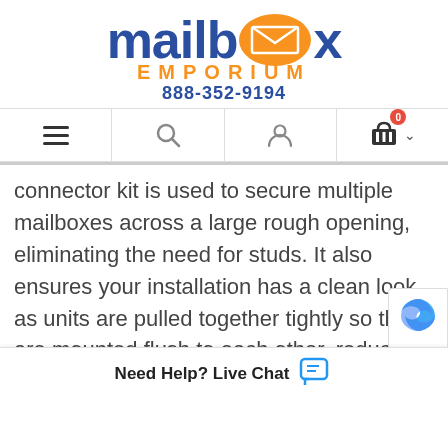[Figure (logo): Mailbox Emporium logo with blue 'mailbox' text, orange oval with envelope icon, 'EMPORIUM' in orange uppercase letters, and phone number 888-352-9194 in blue]
[Figure (screenshot): Navigation bar with hamburger menu, search icon, user account icon, shopping cart with 0 badge, and dropdown chevron]
connector kit is used to secure multiple mailboxes across a large rough opening, eliminating the need for studs. It also ensures your installation has a clean look as units are pulled together tightly so they are mounted flush to each other, reducing potential gaps.
[Figure (infographic): Need Help? Live Chat bar at bottom with chat bubble icon]
[Figure (other): reCAPTCHA badge partially visible at bottom right]